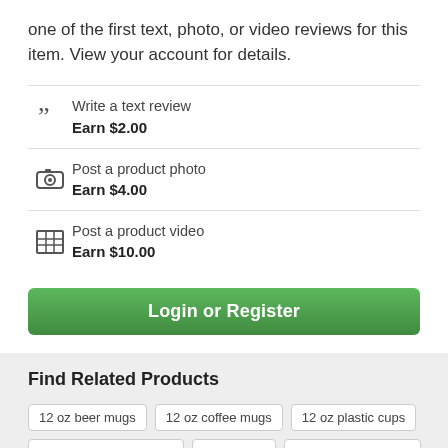one of the first text, photo, or video reviews for this item. View your account for details.
Write a text review
Earn $2.00
Post a product photo
Earn $4.00
Post a product video
Earn $10.00
Login or Register
Find Related Products
12 oz beer mugs
12 oz coffee mugs
12 oz plastic cups
12 oz white soup bowls
salad bowl
water glasses 12 oz